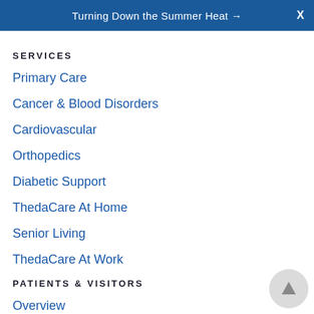Turning Down the Summer Heat → X
SERVICES
Primary Care
Cancer & Blood Disorders
Cardiovascular
Orthopedics
Diabetic Support
ThedaCare At Home
Senior Living
ThedaCare At Work
PATIENTS & VISITORS
Overview
Access & Care
Billing & Payment